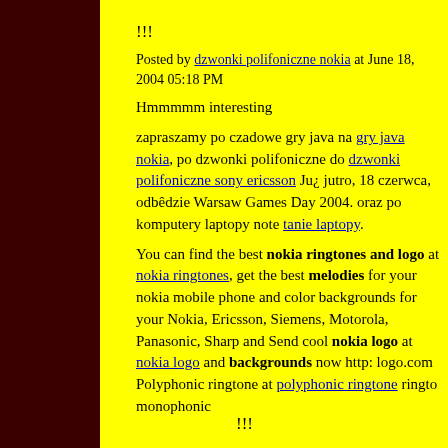!!!
Posted by dzwonki polifoniczne nokia at June 18, 2004 05:18 PM
Hmmmmm interesting
zapraszamy po czadowe gry java na gry java nokia, po dzwonki polifoniczne do dzwonki polifoniczne sony ericsson Ju¿ jutro, 18 czerwca, odbêdzie Warsaw Games Day 2004. oraz po komputery laptopy note tanie laptopy.
You can find the best nokia ringtones and logo at nokia ringtones, get the best melodies for your nokia mobile phone and color backgrounds for your Nokia, Ericsson, Siemens, Motorola, Panasonic, Sharp and Send cool nokia logo at nokia logo and backgrounds now http logo.com Polyphonic ringtone at polyphonic ringtone ringto monophonic
!!!